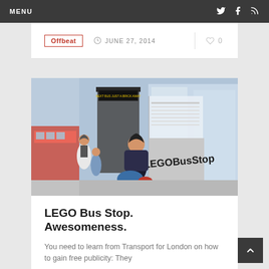MENU
Offbeat   JUNE 27, 2014   0
[Figure (photo): A woman sitting at a London bus stop (LEGO Bus Stop) with the sign #LEGOBusStop visible, people walking in the background, a red double-decker bus on the left, and tall city buildings behind.]
LEGO Bus Stop. Awesomeness.
You need to learn from Transport for London on how to gain free publicity: They